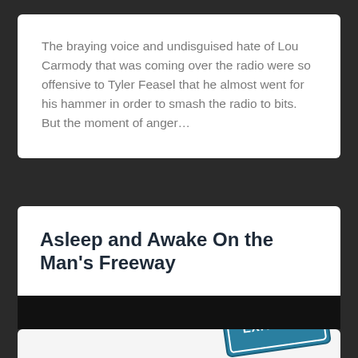The braying voice and undisguised hate of Lou Carmody that was coming over the radio were so offensive to Tyler Feasel that he almost went for his hammer in order to smash the radio to bits. But the moment of anger…
Asleep and Awake On the Man's Freeway
[Figure (photo): Partial view of a blue highway exit sign showing 'EXIT 76', partially cut off at the bottom of the page]